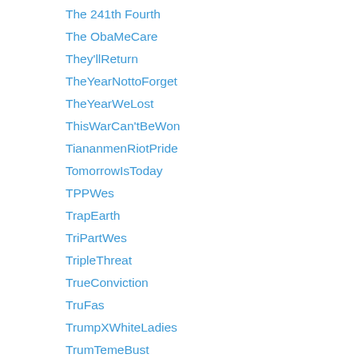The 241th Fourth
The ObaMeCare
They'llReturn
TheYearNottoForget
TheYearWeLost
ThisWarCan'tBeWon
TiananmenRiotPride
TomorrowIsToday
TPPWes
TrapEarth
TriPartWes
TripleThreat
TrueConviction
TruFas
TrumpXWhiteLadies
TrumTemeBust
TruTramp
TurkeyciDay
TurnoutKillsLies
TwinMassKills